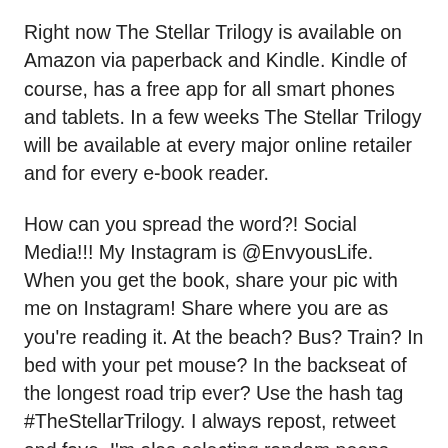Right now The Stellar Trilogy is available on Amazon via paperback and Kindle. Kindle of course, has a free app for all smart phones and tablets. In a few weeks The Stellar Trilogy will be available at every major online retailer and for every e-book reader.
How can you spread the word?! Social Media!!! My Instagram is @EnvyousLife. When you get the book, share your pic with me on Instagram! Share where you are as you're reading it. At the beach? Bus? Train? In bed with your pet mouse? In the backseat of the longest road trip ever? Use the hash tag #TheStellarTrilogy. I always repost, retweet and fave. I'm also selecting random peeps who post their #TheStellarTrilogy pics this summer to receive really cool gifts bags via some really, really, really cool brands. I haven't announced yet, but those details are coming soon. Share for the love, but also know, sharing is a win/win.
Also, if you've read the book and love it, share a review on amazon.com. I've had about a zillion FB, twitter, text and phone conversation reviews so far about how much folk love The Stellar Trilogy! The feedback has been humbling and amazing! For example